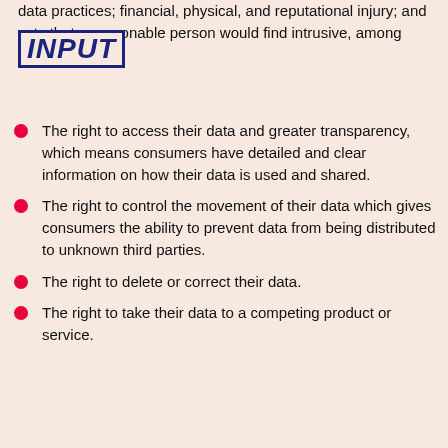data practices; financial, physical, and reputational injury; and acts that a reasonable person would find intrusive, among others.
[Figure (logo): INPUT logo in bold italic dark blue text inside a rectangular border]
The right to access their data and greater transparency, which means consumers have detailed and clear information on how their data is used and shared.
The right to control the movement of their data which gives consumers the ability to prevent data from being distributed to unknown third parties.
The right to delete or correct their data.
The right to take their data to a competing product or service.